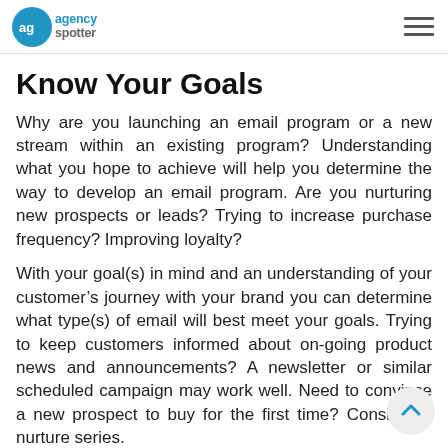agencyspotter
Know Your Goals
Why are you launching an email program or a new stream within an existing program? Understanding what you hope to achieve will help you determine the way to develop an email program. Are you nurturing new prospects or leads? Trying to increase purchase frequency? Improving loyalty?
With your goal(s) in mind and an understanding of your customer’s journey with your brand you can determine what type(s) of email will best meet your goals. Trying to keep customers informed about on-going product news and announcements? A newsletter or similar scheduled campaign may work well. Need to convince a new prospect to buy for the first time? Consider a nurture series.
For context, here is a framework to help you decide...